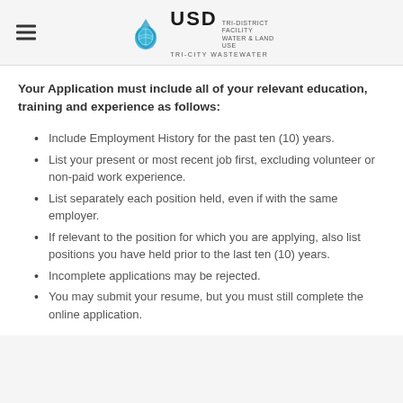USD Tri-City Wastewater
Your Application must include all of your relevant education, training and experience as follows:
Include Employment History for the past ten (10) years.
List your present or most recent job first, excluding volunteer or non-paid work experience.
List separately each position held, even if with the same employer.
If relevant to the position for which you are applying, also list positions you have held prior to the last ten (10) years.
Incomplete applications may be rejected.
You may submit your resume, but you must still complete the online application.